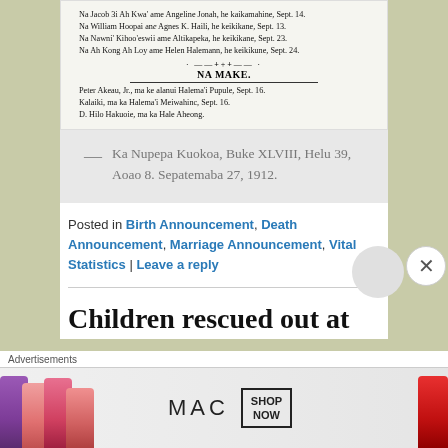[Figure (screenshot): Scanned newspaper clipping showing Hawaiian text entries and a section titled 'NA MAKE.' with death notices for Peter Akeau Jr., Kalaiki, and D. Hilo Hakuole.]
— Ka Nupepa Kuokoa, Buke XLVIII, Helu 39, Aoao 8. Sepatemaba 27, 1912.
Posted in Birth Announcement, Death Announcement, Marriage Announcement, Vital Statistics | Leave a reply
Children rescued out at
Advertisements
[Figure (illustration): MAC cosmetics advertisement banner showing lipsticks in purple, pink, and red with MAC logo and SHOP NOW button.]